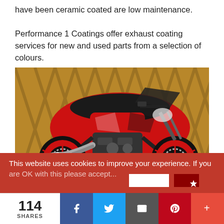have been ceramic coated are low maintenance. Performance 1 Coatings offer exhaust coating services for new and used parts from a selection of colours.
[Figure (photo): Red and black sport motorcycle (Yamaha MT-07 style) with red wheels and black exhaust system, parked in front of a wooden lattice fence on brick paving.]
This website uses cookies to improve your experience. If you are OK with this please accept...
114 SHARES